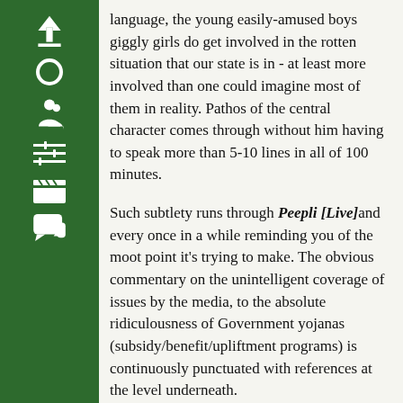[Figure (other): Dark green vertical sidebar with white icons: up arrow, circle, person/user icon, sliders/settings icon, clapperboard/film icon, speech bubble/chat icon]
language, the young easily-amused boys giggly girls do get involved in the rotten situation that our state is in - at least more involved than one could imagine most of them in reality. Pathos of the central character comes through without him having to speak more than 5-10 lines in all of 100 minutes.
Such subtlety runs through Peepli [Live] and every once in a while reminding you of the moot point it's trying to make. The obvious commentary on the unintelligent coverage of issues by the media, to the absolute ridiculousness of Government yojanas (subsidy/benefit/upliftment programs) is continuously punctuated with references at the level underneath.
It is up to us then, to dig deeper. Going just a skin-deeper there's a ton to see: Contrast between